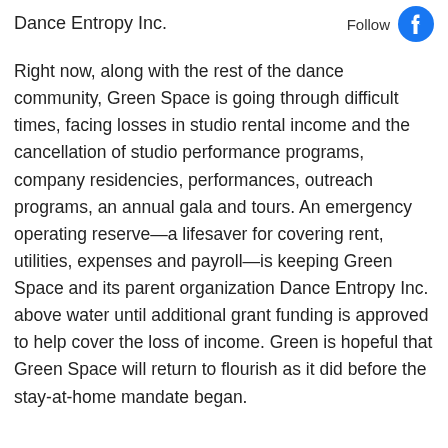Dance Entropy Inc.
Follow
Right now, along with the rest of the dance community, Green Space is going through difficult times, facing losses in studio rental income and the cancellation of studio performance programs, company residencies, performances, outreach programs, an annual gala and tours. An emergency operating reserve—a lifesaver for covering rent, utilities, expenses and payroll—is keeping Green Space and its parent organization Dance Entropy Inc. above water until additional grant funding is approved to help cover the loss of income. Green is hopeful that Green Space will return to flourish as it did before the stay-at-home mandate began.